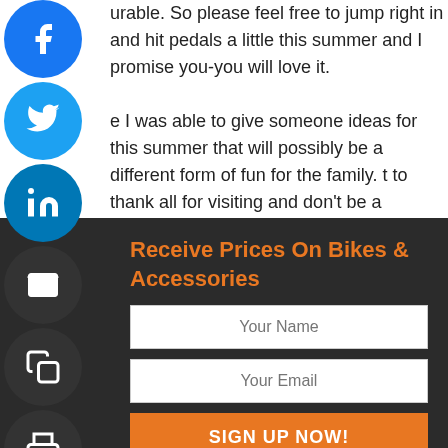urable. So please feel free to jump right in and hit pedals a little this summer and I promise you-you will love it.

e I was able to give someone ideas for this summer that will possibly be a different form of fun for the family. t to thank all for visiting and don't be a stranger. can always sign up to be the first to read my post as write them. Feel free to leave any comments and g plan ideas at the bottom of the page for eone, including me, who might want to try them.
[Figure (other): Social share buttons: Facebook, Twitter, LinkedIn, Email, Copy, Print, and Plus on left side]
Receive Prices On Bikes & Accessories
Your Name
Your Email
SIGN UP NOW!